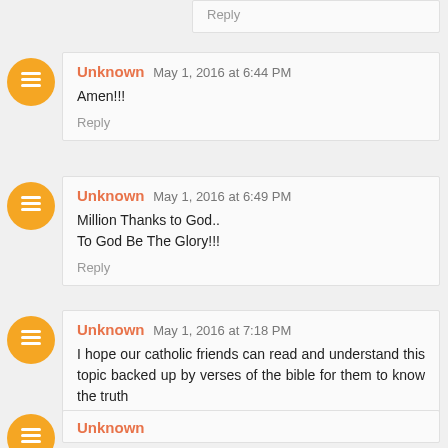Reply
Unknown May 1, 2016 at 6:44 PM
Amen!!!
Reply
Unknown May 1, 2016 at 6:49 PM
Million Thanks to God..
To God Be The Glory!!!
Reply
Unknown May 1, 2016 at 7:18 PM
I hope our catholic friends can read and understand this topic backed up by verses of the bible for them to know the truth
Reply
Unknown ...